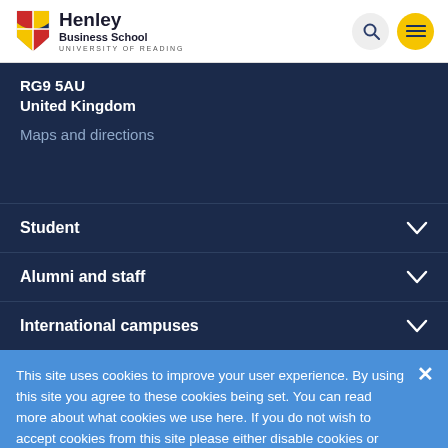Henley Business School — University of Reading
RG9 5AU
United Kingdom
Maps and directions
Student
Alumni and staff
International campuses
This site uses cookies to improve your user experience. By using this site you agree to these cookies being set. You can read more about what cookies we use here. If you do not wish to accept cookies from this site please either disable cookies or refrain from using the site.